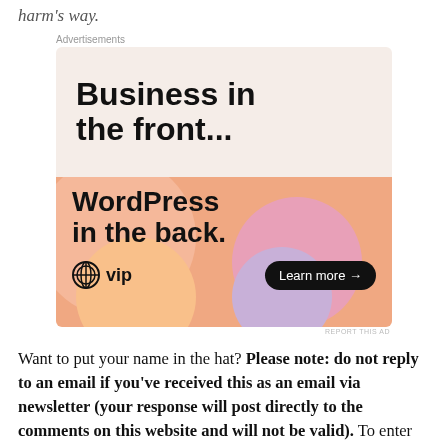harm's way.
[Figure (other): WordPress VIP advertisement. Top half: white/light pink background with text 'Business in the front...' in bold black. Bottom half: orange gradient background with colorful blobs, text 'WordPress in the back.' in bold, WordPress VIP logo on bottom left, and 'Learn more →' button on bottom right.]
REPORT THIS AD
Want to put your name in the hat? Please note: do not reply to an email if you've received this as an email via newsletter (your response will post directly to the comments on this website and will not be valid). To enter